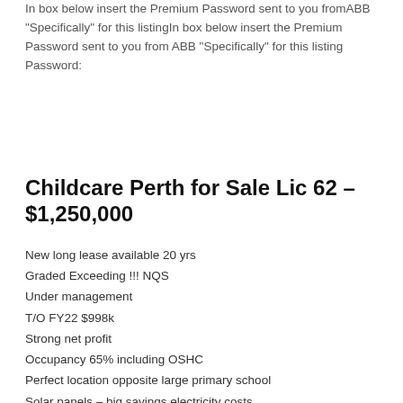In box below insert the Premium Password sent to you fromABB "Specifically" for this listingIn box below insert the Premium Password sent to you from ABB "Specifically" for this listing
Password:
Childcare Perth for Sale Lic 62 – $1,250,000
New long lease available 20 yrs
Graded Exceeding !!! NQS
Under management
T/O FY22 $998k
Strong net profit
Occupancy 65% including OSHC
Perfect location opposite large primary school
Solar panels – big savings electricity costs
Commercial grade Kitchen
Bore for Lawns
Possibility to incorporate cabinet to expand